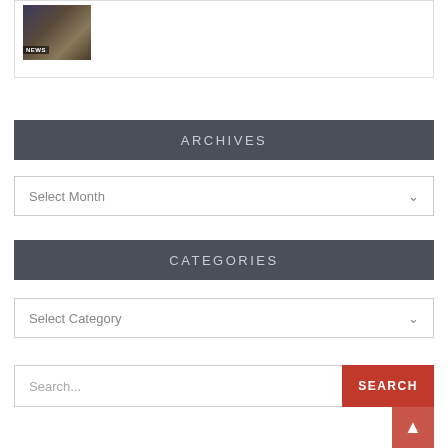[Figure (photo): News thumbnail image showing a person at a desk, with 'NEWS' label overlay]
ARCHIVES
Select Month
CATEGORIES
Select Category
Search...